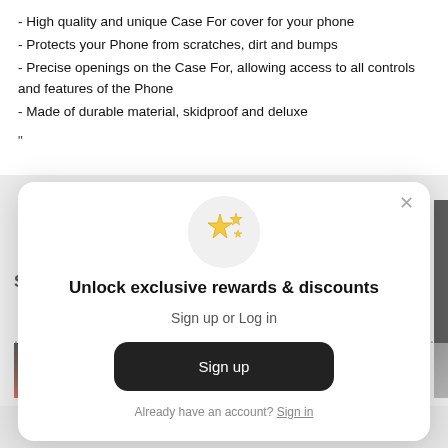- High quality and unique Case For cover for your phone
- Protects your Phone from scratches, dirt and bumps
- Precise openings on the Case For, allowing access to all controls and features of the Phone
- Made of durable material, skidproof and deluxe
"
[Figure (screenshot): Modal dialog overlay on an e-commerce page prompting user to unlock exclusive rewards and discounts, with Sign up and Sign in options]
Unlock exclusive rewards & discounts
Sign up or Log in
Sign up
Already have an account? Sign in